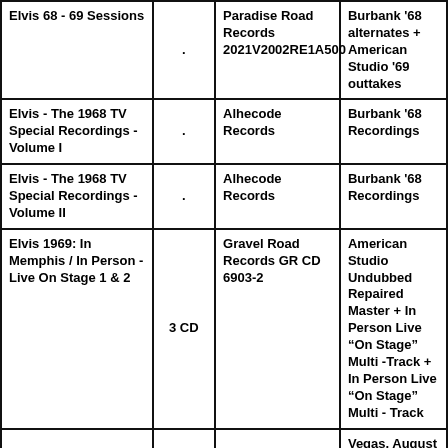| Elvis 68 - 69 Sessions | . | Paradise Road Records 2021V2002RE1A500 | Burbank '68 alternates + American Studio '69 outtakes |
| Elvis - The 1968 TV Special Recordings - Volume I | . | Alhecode Records | Burbank '68 Recordings |
| Elvis - The 1968 TV Special Recordings - Volume II | . | Alhecode Records | Burbank '68 Recordings |
| Elvis 1969: In Memphis / In Person - Live On Stage 1 & 2 | 3 CD | Gravel Road Records GR CD 6903-2 | American Studio Undubbed Repaired Master + In Person Live "On Stage" Multi -Track + In Person Live "On Stage" Multi - Track |
|  |  |  | Vegas, August 24... |